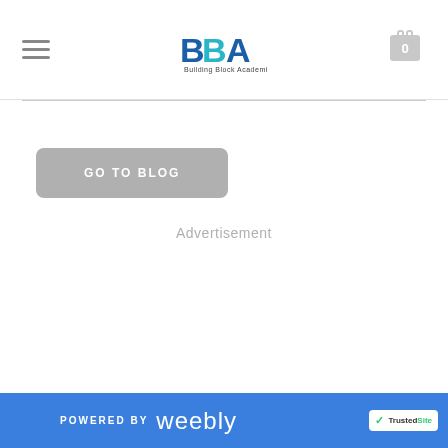[Figure (logo): Building Blocks Academies (BBA) logo with blue/teal block letters and cart icon in top right, hamburger menu top left]
GO TO BLOG
Advertisement
POWERED BY weebly  TrustedSite